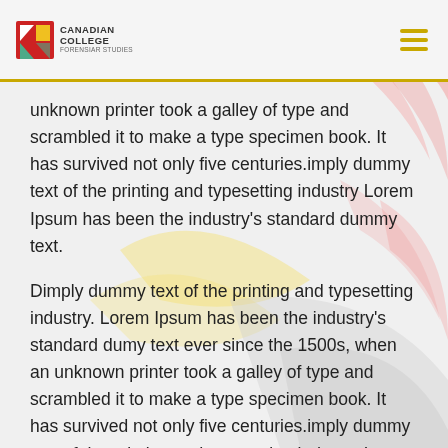CANADIAN COLLEGE FORENSIAR STUDIES
unknown printer took a galley of type and scrambled it to make a type specimen book. It has survived not only five centuries.imply dummy text of the printing and typesetting industry Lorem Ipsum has been the industry's standard dummy text.
Dimply dummy text of the printing and typesetting industry. Lorem Ipsum has been the industry's standard dumy text ever since the 1500s, when an unknown printer took a galley of type and scrambled it to make a type specimen book. It has survived not only five centuries.imply dummy text of the printing and typesetting industry Lorem Ipsum has been the industry's standard dummy text. Dimply dummy text of the printing and typesetting industry. Lorem Ipsum has been the industry's standard dumy text ever since the 1500s, when an unknown printer took a galley of type and scrambled it to make a type specimen book.